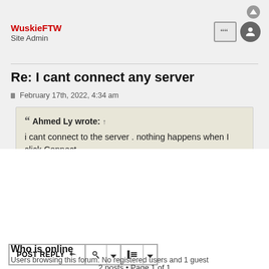WuskieFTW
Site Admin
Re: I cant connect any server
February 17th, 2022, 4:34 am
Ahmed Ly wrote: ↑
i cant connect to the server . nothing happens when I click Connect.
Do you still need help with your problem? Send screenshots of what happened!
2 posts • Page 1 of 1
JUMP TO
Who is online
Users browsing this forum: No registered users and 1 guest